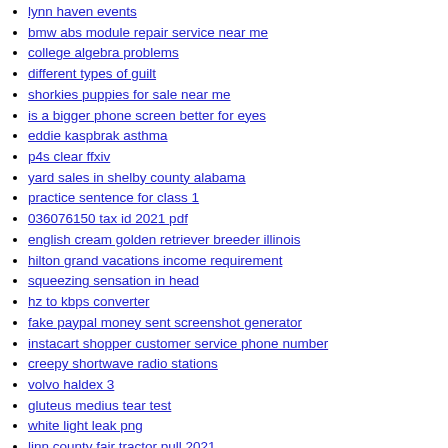lynn haven events
bmw abs module repair service near me
college algebra problems
different types of guilt
shorkies puppies for sale near me
is a bigger phone screen better for eyes
eddie kaspbrak asthma
p4s clear ffxiv
yard sales in shelby county alabama
practice sentence for class 1
036076150 tax id 2021 pdf
english cream golden retriever breeder illinois
hilton grand vacations income requirement
squeezing sensation in head
hz to kbps converter
fake paypal money sent screenshot generator
instacart shopper customer service phone number
creepy shortwave radio stations
volvo haldex 3
gluteus medius tear test
white light leak png
linn county fair tractor pull 2021
boston studio apartments for sale
best iwant movies
universal commodity trading dmcc